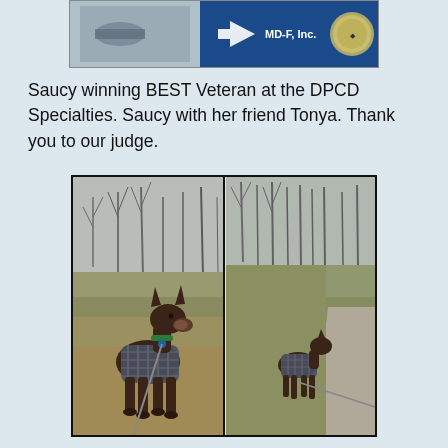[Figure (photo): Partial top photo showing a dog show setting with a blue sign reading 'MD-F, Inc' and a circular emblem/medallion, cropped at top of page.]
Saucy winning BEST Veteran at the DPCD Specialties. Saucy with her friend Tonya.  Thank you to our judge.
[Figure (photo): Two side-by-side photos of a Doberman Pinscher named Saucy wearing a plaid dog coat/jacket. Left photo: Saucy standing facing slightly right in a grassy field with bare trees in background. Right photo: Saucy walking away on a path with grass and trees in background. Black border around the combined photo frame.]